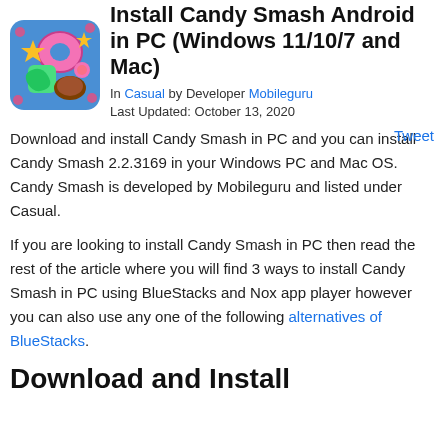Install Candy Smash Android in PC (Windows 11/10/7 and Mac)
[Figure (screenshot): Candy Smash app icon showing colorful candy game graphics on blue background]
In Casual by Developer Mobileguru
Last Updated: October 13, 2020
Download and install Candy Smash in PC and you can install Candy Smash 2.2.3169 in your Windows PC and Mac OS. Candy Smash is developed by Mobileguru and listed under Casual.
Tweet
If you are looking to install Candy Smash in PC then read the rest of the article where you will find 3 ways to install Candy Smash in PC using BlueStacks and Nox app player however you can also use any one of the following alternatives of BlueStacks.
Download and Install